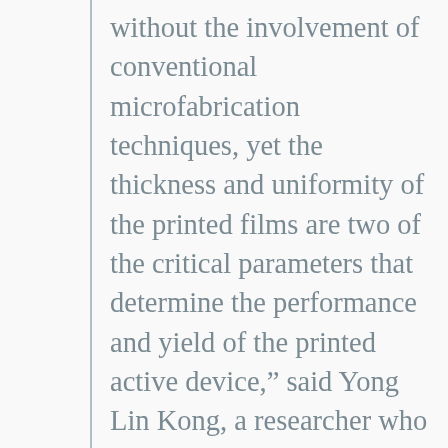without the involvement of conventional microfabrication techniques, yet the thickness and uniformity of the printed films are two of the critical parameters that determine the performance and yield of the printed active device,” said Yong Lin Kong, a researcher who worked on both the bionic ear and contact lens projects.